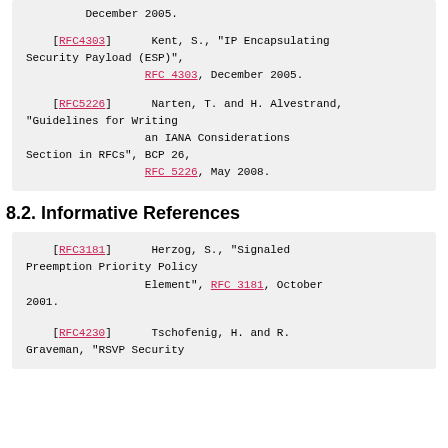[RFC4303]   Kent, S., "IP Encapsulating Security Payload (ESP)", RFC 4303, December 2005.
[RFC5226]   Narten, T. and H. Alvestrand, "Guidelines for Writing an IANA Considerations Section in RFCs", BCP 26, RFC 5226, May 2008.
8.2. Informative References
[RFC3181]   Herzog, S., "Signaled Preemption Priority Policy Element", RFC 3181, October 2001.
[RFC4230]   Tschofenig, H. and R. Graveman, "RSVP Security